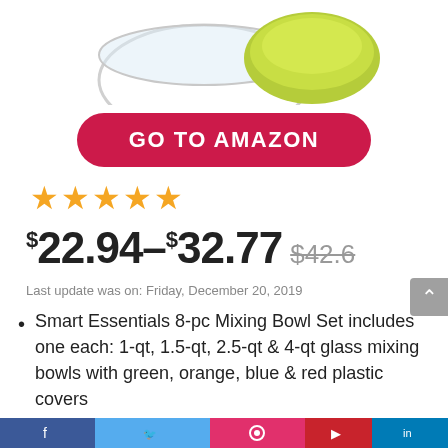[Figure (photo): Partial view of a glass mixing bowl with a green lid, product image cropped at top]
GO TO AMAZON
[Figure (other): Four orange star rating icons]
$22.94–$32.77 $42.6
Last update was on: Friday, December 20, 2019
Smart Essentials 8-pc Mixing Bowl Set includes one each: 1-qt, 1.5-qt, 2.5-qt & 4-qt glass mixing bowls with green, orange, blue & red plastic covers
Pyrex glass is safe in the oven, microwave,
Social sharing bar